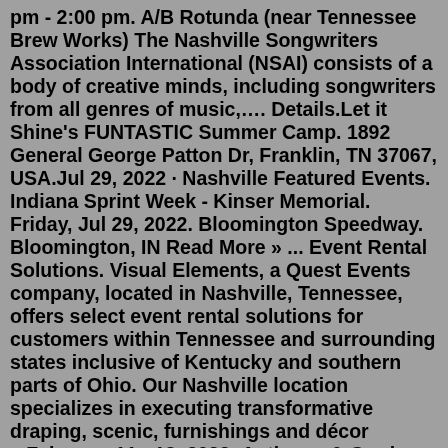(…) pm - 2:00 pm. A/B Rotunda (near Tennessee Brew Works) The Nashville Songwriters Association International (NSAI) consists of a body of creative minds, including songwriters from all genres of music,…. Details.Let it Shine's FUNTASTIC Summer Camp. 1892 General George Patton Dr, Franklin, TN 37067, USA.Jul 29, 2022 · Nashville Featured Events. Indiana Sprint Week - Kinser Memorial. Friday, Jul 29, 2022. Bloomington Speedway. Bloomington, IN Read More » ... Event Rental Solutions. Visual Elements, a Quest Events company, located in Nashville, Tennessee, offers select event rental solutions for customers within Tennessee and surrounding states inclusive of Kentucky and southern parts of Ohio. Our Nashville location specializes in executing transformative draping, scenic, furnishings and décor ...February 11 - 13, 2022: Antiques & Garden Show. The annual Antiques & Garden Show returns to Nashville's Music City Center on February 11-13. The event features 150+